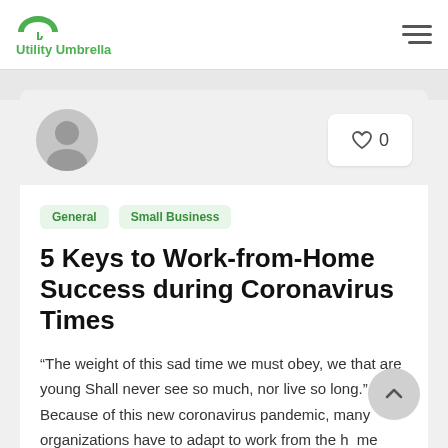Utility Umbrella
[Figure (logo): Utility Umbrella logo with green umbrella icon and green text]
General
Small Business
5 Keys to Work-from-Home Success during Coronavirus Times
“The weight of this sad time we must obey, we that are young Shall never see so much, nor live so long.” Because of this new coronavirus pandemic, many organizations have to adapt to work from the home process. However,...